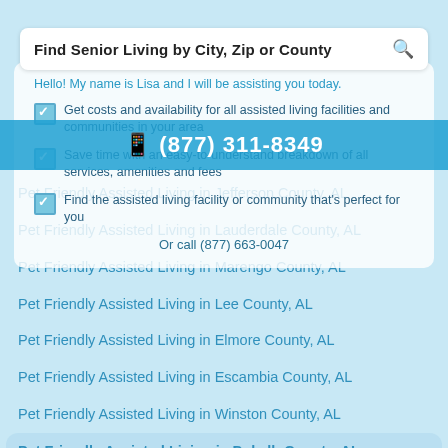[Figure (screenshot): Mobile website screenshot showing a senior living search interface with overlapping UI elements: a search bar, phone number bar, a popup overlay with checklist, and a list of Pet Friendly Assisted Living links by county in Alabama.]
Find Senior Living by City, Zip or County
(877) 311-8349
Hello! My name is Lisa and I will be assisting you today.
Get costs and availability for all assisted living facilities and communities in your area
Save time with an easy-to-understand breakdown of all services, amenities and fees
Find the assisted living facility or community that's perfect for you
Pet Friendly Assisted Living in Jefferson County, AL
Pet Friendly Assisted Living in Lauderdale County, AL
Pet Friendly Assisted Living in Marengo County, AL
Pet Friendly Assisted Living in Lee County, AL
Pet Friendly Assisted Living in Elmore County, AL
Pet Friendly Assisted Living in Escambia County, AL
Pet Friendly Assisted Living in Winston County, AL
Pet Friendly Assisted Living in Dekalb County, AL
Pet Friendly Assisted Living in Autauga County, AL
Pet Friendly Assisted Living in Etowah County, AL
Or call (877) 663-0047